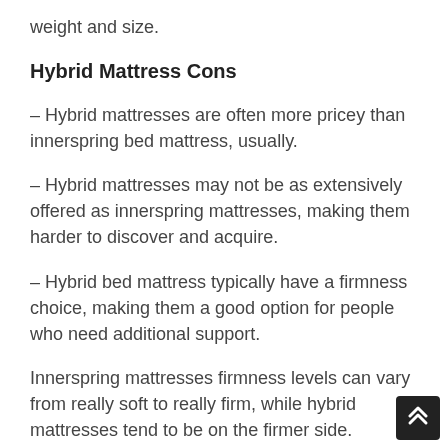weight and size.
Hybrid Mattress Cons
– Hybrid mattresses are often more pricey than innerspring bed mattress, usually.
– Hybrid mattresses may not be as extensively offered as innerspring mattresses, making them harder to discover and acquire.
– Hybrid bed mattress typically have a firmness choice, making them a good option for people who need additional support.
Innerspring mattresses firmness levels can vary from really soft to really firm, while hybrid mattresses tend to be on the firmer side. Innerspring bed mattress are also more budget friendly than hybrid mattresses, making them a great alternative for